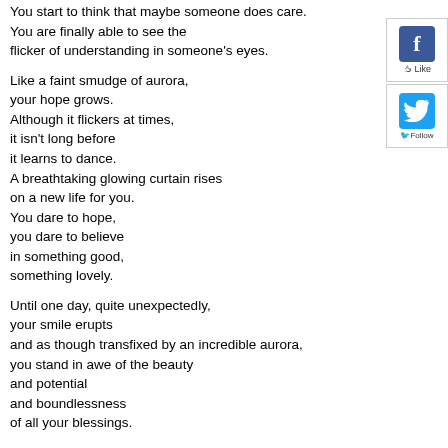You start to think that maybe someone does care.
You are finally able to see the
flicker of understanding in someone's eyes.

Like a faint smudge of aurora,
your hope grows.
Although it flickers at times,
it isn't long before
it learns to dance.
A breathtaking glowing curtain rises
on a new life for you.
You dare to hope,
you dare to believe
in something good,
something lovely.

Until one day, quite unexpectedly,
your smile erupts
and as though transfixed by an incredible aurora,
you stand in awe of the beauty
and potential
and boundlessness
of all your blessings.
[Figure (other): Facebook Like button widget and Twitter Follow button widget in the top-right sidebar]